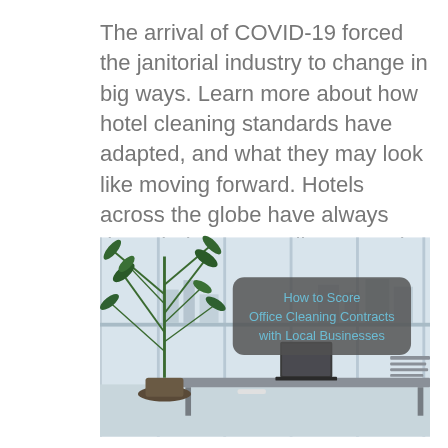The arrival of COVID-19 forced the janitorial industry to change in big ways. Learn more about how hotel cleaning standards have adapted, and what they may look like moving forward. Hotels across the globe have always done their best to adhere to strict cleaning...
[Figure (photo): Photo of a modern office interior with large windows, a tall indoor plant (dracaena), a long desk with a laptop, and a city skyline visible outside. Overlaid on the photo is a rounded dark grey box with light blue text reading 'How to Score Office Cleaning Contracts with Local Businesses'.]